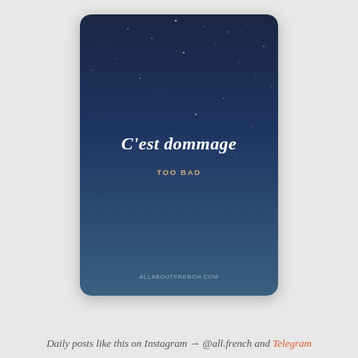[Figure (illustration): A card with a dark navy blue starry night sky gradient background. In the center, white italic text reads 'C'est dommage' with golden/tan text below reading 'TOO BAD'. At the bottom of the card is 'ALLABOUTFRENCH.COM' in small spaced letters.]
Daily posts like this on Instagram → @all.french and Telegram